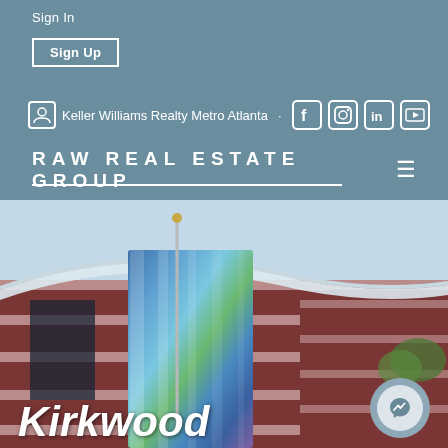Sign In
Sign Up
Keller Williams Realty Metro Atlanta
Raw Real Estate Group
[Figure (photo): Exterior photo of a brick building with curved roof, colorful mosaic or mural panel in blue and green tones, flagpole, under a light blue sky. Located in Kirkwood neighborhood.]
Kirkwood